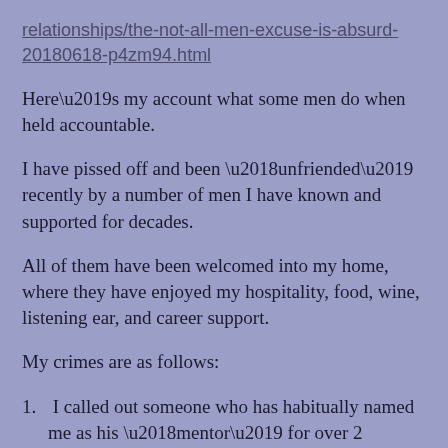relationships/the-not-all-men-excuse-is-absurd-20180618-p4zm94.html
Here’s my account what some men do when held accountable.
I have pissed off and been ‘unfriended’ recently by a number of men I have known and supported for decades.
All of them have been welcomed into my home, where they have enjoyed my hospitality, food, wine, listening ear, and career support.
My crimes are as follows:
1.  I called out someone who has habitually named me as his ‘mentor’ for over 2 decades for letting his new, paranoid girlfriend I have never met write abusive